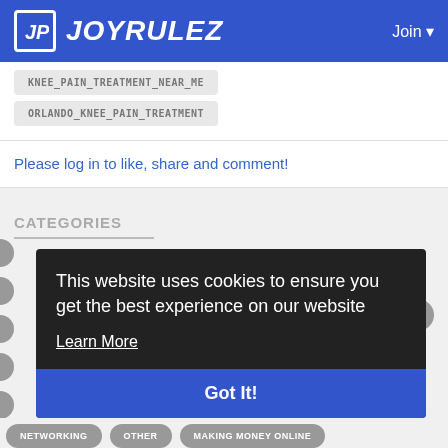JOYRULEZ — Join
KNEE_PAIN_TREATMENT_NEAR_ME
ORLANDO_KNEE_PAIN_TREATMENT
Please log in to like, share and comment!
CATEGORIES
[Figure (screenshot): Cookie consent overlay with text: This website uses cookies to ensure you get the best experience on our website. Learn More. Got It! button.]
NETWORKING
OTHER
MAKING MONEY ONLINE